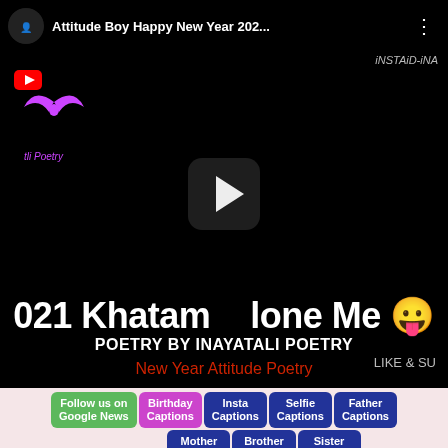[Figure (screenshot): YouTube video thumbnail/player screenshot showing a poetry video titled '2021 Khatam Hone Me' by Inayatali Poetry with a play button overlay, white and red text on black background, and a purple winged logo.]
Attitude Boy Happy New Year 202...
iNSTAiD-iNA
021 Khatam Hone Me
POETRY BY INAYATALI POETRY
New Year Attitude Poetry
LIKE & SU
Follow us on Google News
Birthday Captions
Insta Captions
Selfie Captions
Father Captions
Mother Captions
Brother Captions
Sister Captions